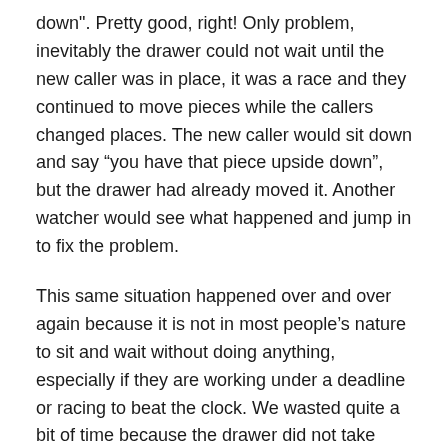down".  Pretty good, right!  Only problem, inevitably the drawer could not wait until the new caller was in place, it was a race and they continued to move pieces while the callers changed places.  The new caller would sit down and say “you have that piece upside down”, but the drawer had already moved it.  Another watcher would see what happened and jump in to fix the problem.
This same situation happened over and over again because it is not in most people’s nature to sit and wait without doing anything, especially if they are working under a deadline or racing to beat the clock.  We wasted quite a bit of time because the drawer did not take their hands off the board and wait for the next instruction.  By trying to speed things up they in fact slowed things down.
Sometimes we think that by moving full steam ahead we